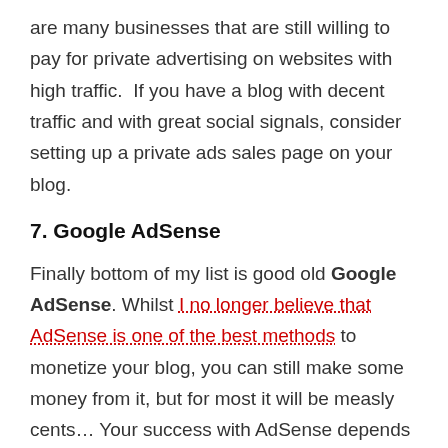are many businesses that are still willing to pay for private advertising on websites with high traffic.  If you have a blog with decent traffic and with great social signals, consider setting up a private ads sales page on your blog.
7. Google AdSense
Finally bottom of my list is good old Google AdSense. Whilst I no longer believe that AdSense is one of the best methods to monetize your blog, you can still make some money from it, but for most it will be measly cents… Your success with AdSense depends greatly on how much search engine traffic your blog gets and where you are placing your ads.  Also the type of niche